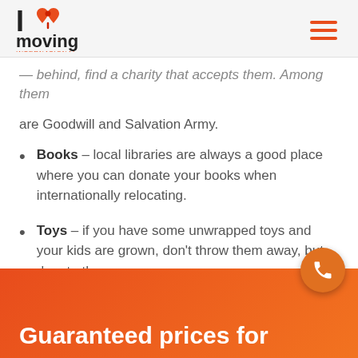I love moving International
…behind, find a charity that accepts them. Among them are Goodwill and Salvation Army.
Books – local libraries are always a good place where you can donate your books when internationally relocating.
Toys – if you have some unwrapped toys and your kids are grown, don't throw them away, but donate them.
Guaranteed prices for